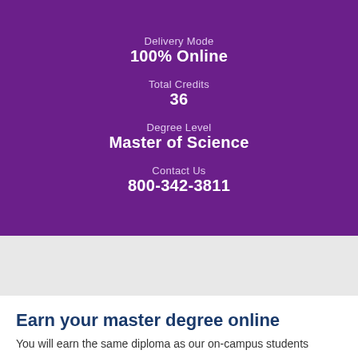Delivery Mode
100% Online
Total Credits
36
Degree Level
Master of Science
Contact Us
800-342-3811
Earn your master degree online
You will earn the same diploma as our on-campus students